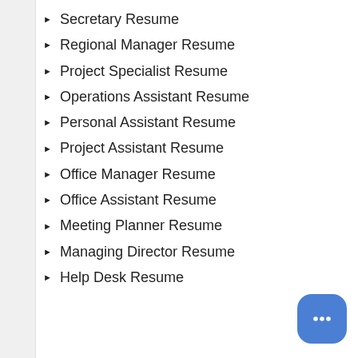Secretary Resume
Regional Manager Resume
Project Specialist Resume
Operations Assistant Resume
Personal Assistant Resume
Project Assistant Resume
Office Manager Resume
Office Assistant Resume
Meeting Planner Resume
Managing Director Resume
Help Desk Resume
[Figure (illustration): Blue rounded chat button with ellipsis icon in bottom right corner]